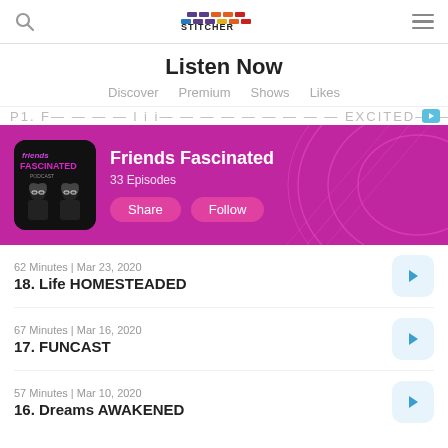Stitcher
Listen Now
Discover  Premium  Shows  Likes
[Figure (screenshot): Friends Fascinated podcast banner with purple background, podcast cover art showing two illustrated women silhouettes, title 'Friends Fascinated', '33 Episodes', Share and Follow buttons]
62 Minutes | Mar 23, 2020
18. Life HOMESTEADED
67 Minutes | Mar 16, 2020
17. FUNCAST
57 Minutes | Mar 10, 2020
16. Dreams AWAKENED